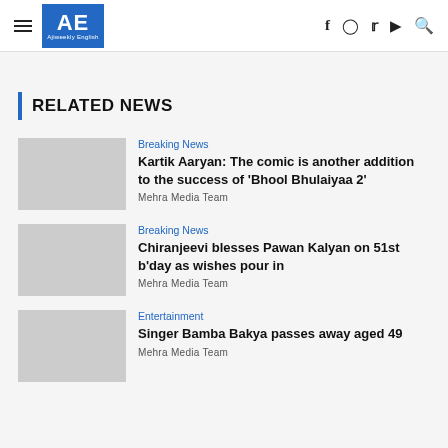AE Ajiweekly English
RELATED NEWS
Breaking News
Kartik Aaryan: The comic is another addition to the success of 'Bhool Bhulaiyaa 2'
Mehra Media Team
Breaking News
Chiranjeevi blesses Pawan Kalyan on 51st b'day as wishes pour in
Mehra Media Team
Entertainment
Singer Bamba Bakya passes away aged 49
Mehra Media Team